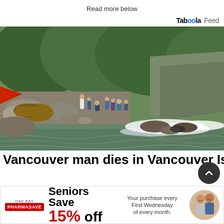Read more below
[Figure (logo): Taboola Feed logo]
[Figure (photo): People gathered along a rocky riverbank beside a fast-moving river with whitewater rapids. Dense green trees and hillside in background. Red object visible at upper left.]
Vancouver man dies in Vancouver Island
[Figure (infographic): Oak Bay Pharmasave advertisement: Seniors Save 15% off. Your purchase every First Wednesday of every month.]